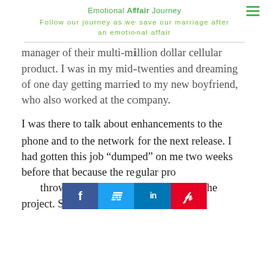Emotional Affair Journey
Follow our journey as we save our marriage after an emotional affair
manager of their multi-million dollar cellular product. I was in my mid-twenties and dreaming of one day getting married to my new boyfriend, who also worked at the company.
I was there to talk about enhancements to the phone and to the network for the next release. I had gotten this job “dumped” on me two weeks before that because the regular pro[duct manager had] thrown up her hands and walked off the project. She